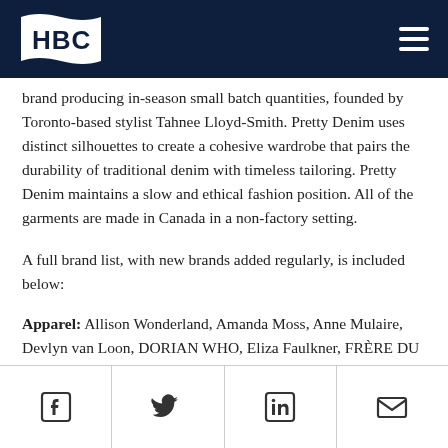HBC
brand producing in-season small batch quantities, founded by Toronto-based stylist Tahnee Lloyd-Smith. Pretty Denim uses distinct silhouettes to create a cohesive wardrobe that pairs the durability of traditional denim with timeless tailoring. Pretty Denim maintains a slow and ethical fashion position. All of the garments are made in Canada in a non-factory setting.
A full brand list, with new brands added regularly, is included below:
Apparel: Allison Wonderland, Amanda Moss, Anne Mulaire, Devlyn van Loon, DORIAN WHO, Eliza Faulkner, FRÈRE DU NORD, Hilary MacMillan, Jennifer Glasgow, Laura Siegel, LESLEY HAMPTON,
Social media icons: Facebook, Twitter, LinkedIn, Email